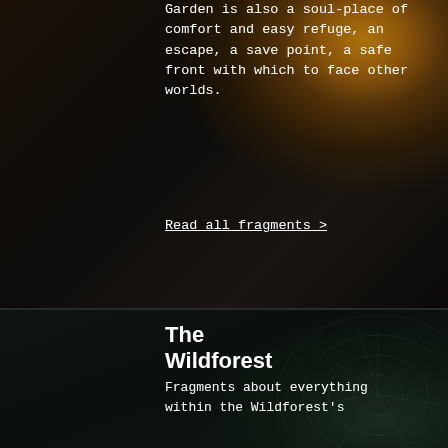[Figure (photo): Dark background with golden/amber botanical flower detail in top right corner, dark moody tones]
Garden is also a soul-place of comfort and easy refuge, an escape, a save point, a safe front with which to face other worlds.
Read all fragments >
[Figure (photo): Dark moody background with spiderweb detail visible in right portion, deep green-black tones]
The Wildforest
Fragments about everything within the Wildforest's